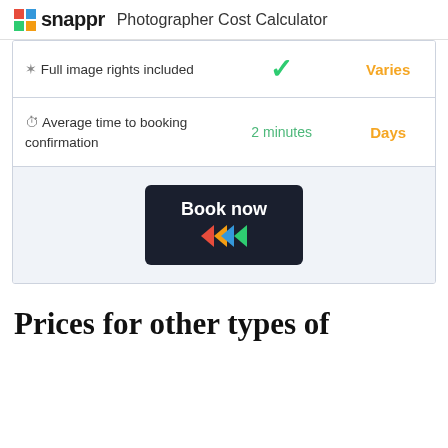snappr — Photographer Cost Calculator
| Feature | Snappr | Other |
| --- | --- | --- |
| Full image rights included | ✓ | Varies |
| Average time to booking confirmation | 2 minutes | Days |
Book now
Prices for other types of